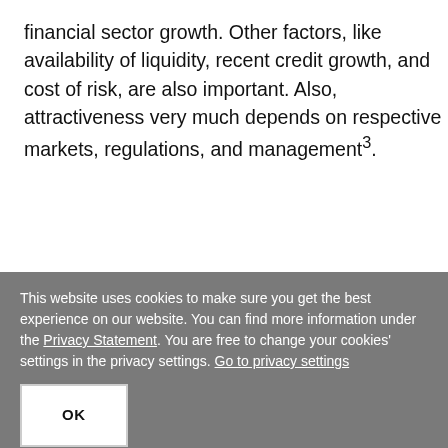financial sector growth. Other factors, like availability of liquidity, recent credit growth, and cost of risk, are also important. Also, attractiveness very much depends on respective markets, regulations, and management³.
[Figure (illustration): Large pink/rose circle partially visible, with white text reading 'Emerging Markets will add' — a decorative infographic element cut off at the bottom of the visible area.]
This website uses cookies to make sure you get the best experience on our website. You can find more information under the Privacy Statement. You are free to change your cookies' settings in the privacy settings. Go to privacy settings